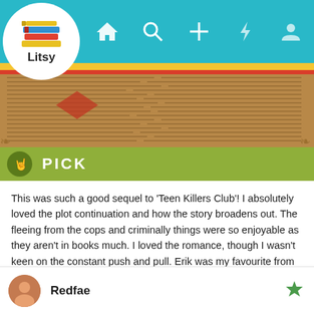[Figure (screenshot): Litsy app logo — colorful stacked books icon with 'Litsy' text in a white circle]
Litsy app navigation bar with home, search, add, notification, and profile icons
[Figure (photo): Decorative header image with book-text texture background in brown/tan tones]
PICK
This was such a good sequel to 'Teen Killers Club'! I absolutely loved the plot continuation and how the story broadens out. The fleeing from the cops and criminally things were so enjoyable as they aren't in books much. I loved the romance, though I wasn't keen on the constant push and pull. Erik was my favourite from book 1, so I'm happy with the direction. I loved the pacing and the plot twists, the interactions with the characters too!
26 likes
Redfae